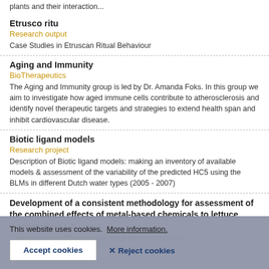plants and their interaction...
Etrusco ritu
Research output
Case Studies in Etruscan Ritual Behaviour
Aging and Immunity
BioTherapeutics
The Aging and Immunity group is led by Dr. Amanda Foks. In this group we aim to investigate how aged immune cells contribute to atherosclerosis and identify novel therapeutic targets and strategies to extend health span and inhibit cardiovascular disease.
Biotic ligand models
Research project
Description of Biotic ligand models: making an inventory of available models & assessment of the variability of the predicted HC5 using the BLMs in different Dutch water types (2005 - 2007)
Development of a consistent methodology for assessment of the combined effects of metal-based chemicals to lettuce (Lactuca sativa L.)
This website uses cookies.  More information.
Accept cookies
✕ Reject cookies